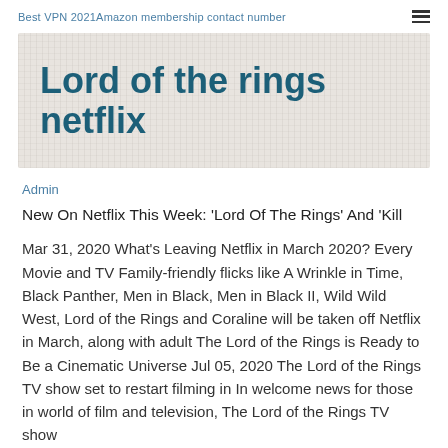Best VPN 2021Amazon membership contact number
Lord of the rings netflix
Admin
New On Netflix This Week: 'Lord Of The Rings' And 'Kill
Mar 31, 2020 What's Leaving Netflix in March 2020? Every Movie and TV Family-friendly flicks like A Wrinkle in Time, Black Panther, Men in Black, Men in Black II, Wild Wild West, Lord of the Rings and Coraline will be taken off Netflix in March, along with adult The Lord of the Rings is Ready to Be a Cinematic Universe Jul 05, 2020 The Lord of the Rings TV show set to restart filming in In welcome news for those in world of film and television, The Lord of the Rings TV show